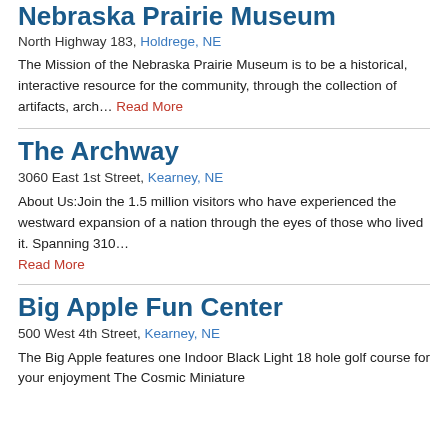Nebraska Prairie Museum
North Highway 183, Holdrege, NE
The Mission of the Nebraska Prairie Museum is to be a historical, interactive resource for the community, through the collection of artifacts, arch… Read More
The Archway
3060 East 1st Street, Kearney, NE
About Us:Join the 1.5 million visitors who have experienced the westward expansion of a nation through the eyes of those who lived it. Spanning 310… Read More
Big Apple Fun Center
500 West 4th Street, Kearney, NE
The Big Apple features one Indoor Black Light 18 hole golf course for your enjoyment The Cosmic Miniature